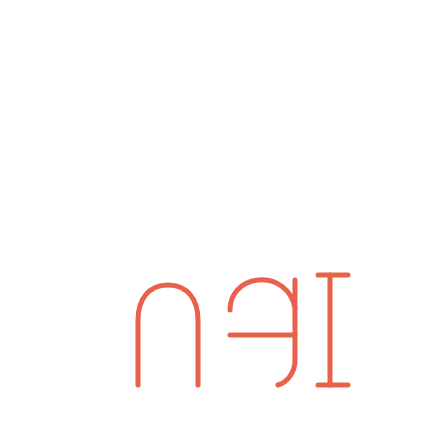[Figure (logo): Partial logo or lettering in salmon/coral pink outline style, showing what appears to be the bottom portion of large letters or characters — resembling 'n', 'a', 'l' or similar letterforms in a thin outline stroke, coral/salmon color, on white background. Only the lower-center portion of the characters is visible, suggesting a cropped or zoomed-in logo.]